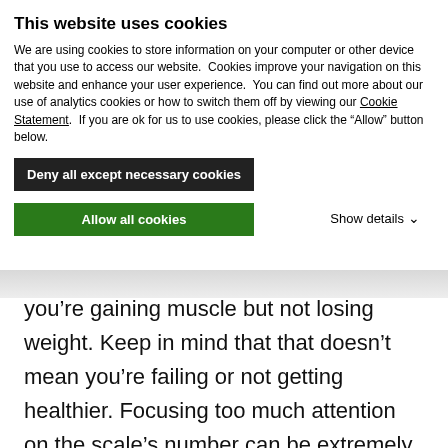This website uses cookies
We are using cookies to store information on your computer or other device that you use to access our website.  Cookies improve your navigation on this website and enhance your user experience.  You can find out more about our use of analytics cookies or how to switch them off by viewing our Cookie Statement.  If you are ok for us to use cookies, please click the “Allow” button below.
Deny all except necessary cookies
Allow all cookies
Show details ⌄
you’re gaining muscle but not losing weight. Keep in mind that that doesn’t mean you’re failing or not getting healthier. Focusing too much attention on the scale’s number can be extremely misleading, discouraging, and even potentially harmful. Use these tips to better